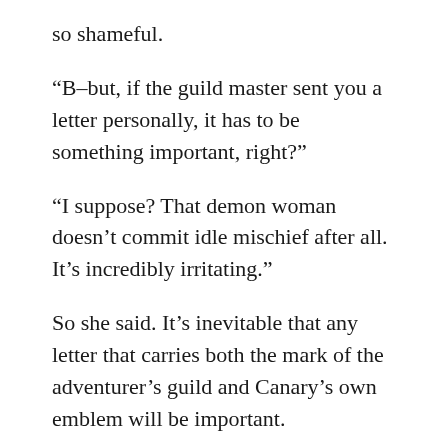so shameful.
“B–but, if the guild master sent you a letter personally, it has to be something important, right?”
“I suppose? That demon woman doesn’t commit idle mischief after all. It’s incredibly irritating.”
So she said. It’s inevitable that any letter that carries both the mark of the adventurer’s guild and Canary’s own emblem will be important.
She doesn’t know just what it is, but it’s possible that something on the level of a Dragon King’s attack has happened again.